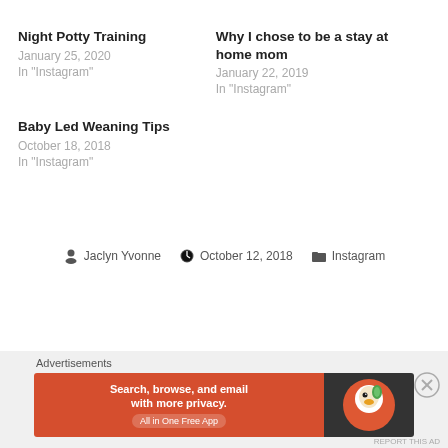Night Potty Training
January 25, 2020
In "Instagram"
Why I chose to be a stay at home mom
January 22, 2019
In "Instagram"
Baby Led Weaning Tips
October 18, 2018
In "Instagram"
Jaclyn Yvonne   October 12, 2018   Instagram
Previous Post
Advertisements
[Figure (screenshot): DuckDuckGo advertisement banner: orange left panel with text 'Search, browse, and email with more privacy. All in One Free App' and dark right panel with DuckDuckGo duck logo]